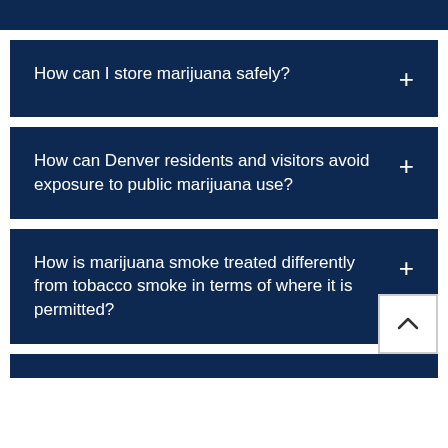How can I store marijuana safely?
How can Denver residents and visitors avoid exposure to public marijuana use?
How is marijuana smoke treated differently from tobacco smoke in terms of where it is permitted?